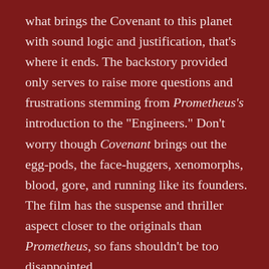what brings the Covenant to this planet with sound logic and justification, that's where it ends. The backstory provided only serves to raise more questions and frustrations stemming from Prometheus's introduction to the "Engineers." Don't worry though Covenant brings out the egg-pods, the face-huggers, xenomorphs, blood, gore, and running like its founders. The film has the suspense and thriller aspect closer to the originals than Prometheus, so fans shouldn't be too disappointed.
There are many unanswered questions between these first two prequels that I wish